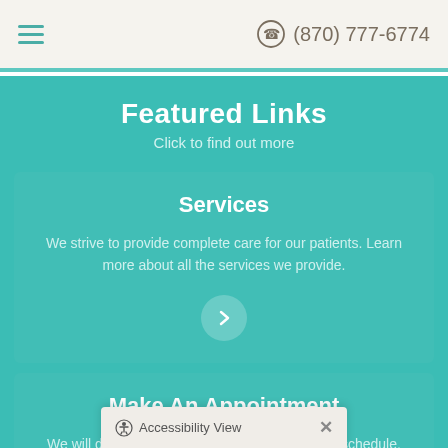≡  (870) 777-6774
Featured Links
Click to find out more
Services
We strive to provide complete care for our patients. Learn more about all the services we provide.
Make An Appointment
We will do our best to accommodate your busy schedule. Schedule a...